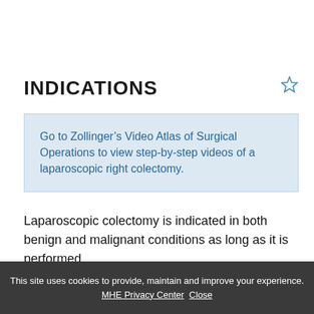INDICATIONS
Go to Zollinger’s Video Atlas of Surgical Operations to view step-by-step videos of a laparoscopic right colectomy.
Laparoscopic colectomy is indicated in both benign and malignant conditions as long as it is performed
This site uses cookies to provide, maintain and improve your experience. MHE Privacy Center Close